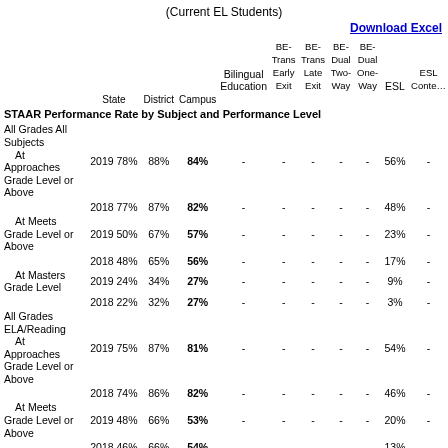(Current EL Students)
Download Excel
|  | State | District | Campus | Bilingual Education | BE-Trans Early Exit | BE-Trans Late Exit | BE-Dual Two-Way | BE-Dual One-Way | ESL | ESL Content |
| --- | --- | --- | --- | --- | --- | --- | --- | --- | --- | --- |
| STAAR Performance Rate by Subject and Performance Level |  |  |  |  |  |  |  |  |  |  |
| All Grades All Subjects At Approaches Grade Level or Above | 2019 78% | 88% | 84% | - | - | - | - | - | 56% | - |
|  | 2018 77% | 87% | 82% | - | - | - | - | - | 48% | - |
| At Meets Grade Level or Above | 2019 50% | 67% | 57% | - | - | - | - | - | 23% | - |
|  | 2018 48% | 65% | 56% | - | - | - | - | - | 17% | - |
| At Masters Grade Level | 2019 24% | 34% | 27% | - | - | - | - | - | 9% | - |
|  | 2018 22% | 32% | 27% | - | - | - | - | - | 3% | - |
| All Grades ELA/Reading At Approaches Grade Level or Above | 2019 75% | 87% | 81% | - | - | - | - | - | 54% | - |
|  | 2018 74% | 86% | 82% | - | - | - | - | - | 46% | - |
| At Meets Grade Level or Above | 2019 48% | 66% | 53% | - | - | - | - | - | 20% | - |
|  | 2018 46% | 66% | 54% | - | - | - | - | - | 13% | - |
| At Masters |  |  |  |  |  |  |  |  |  |  |